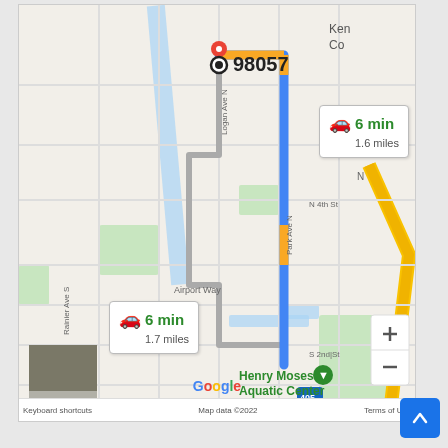[Figure (map): Google Maps screenshot showing driving directions in Renton, WA area (zip code 98057). Two route options displayed: fastest route 6 min / 1.6 miles and alternate route 6 min / 1.7 miles. Route shown in blue from origin (98057) to 8-Bit Arcade Bar destination, passing Henry Moses Aquatic Center. Map shows streets including Logan Ave N, Park Ave N, Airport Way, Rainier Ave S, N 4th St, S 2nd St. Highway 405 visible. Map data ©2022. Zoom controls and satellite thumbnail shown.]